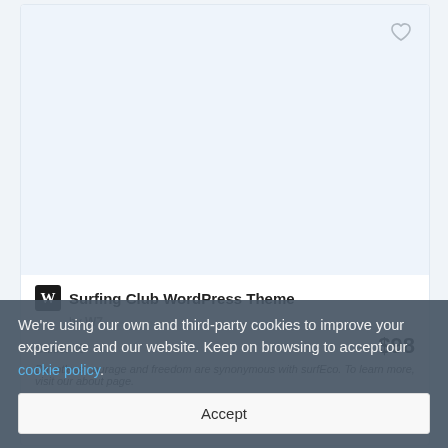[Figure (screenshot): Product card thumbnail area — light blue/white blank image area with a heart/favourite icon in the top right corner]
Surfing Club WordPress Theme
by W7
Sales: 40   $98
Dauntless courage and freedom are synonymous with surfEco. To learn more, visit our about page.
We're using our own and third-party cookies to improve your experience and our website. Keep on browsing to accept our cookie policy.
Accept